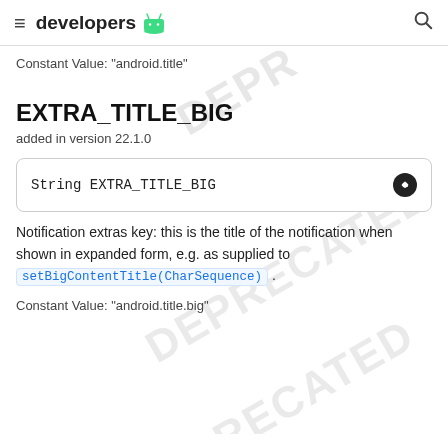≡ developers 🤖 🔍
Constant Value: "android.title"
EXTRA_TITLE_BIG
added in version 22.1.0
String EXTRA_TITLE_BIG
Notification extras key: this is the title of the notification when shown in expanded form, e.g. as supplied to setBigContentTitle(CharSequence).
Constant Value: "android.title.big"